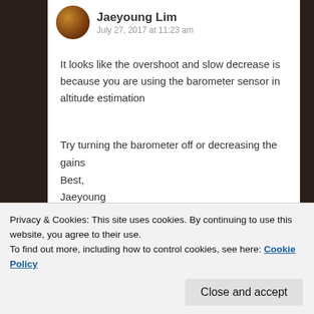Jaeyoung Lim
July 27, 2017 at 11:23 am
It looks like the overshoot and slow decrease is because you are using the barometer sensor in altitude estimation
Try turning the barometer off or decreasing the gains
Best,
Jaeyoung
★ Like
Reply
Privacy & Cookies: This site uses cookies. By continuing to use this website, you agree to their use.
To find out more, including how to control cookies, see here: Cookie Policy
Close and accept
Thanks for the quick reply! Our